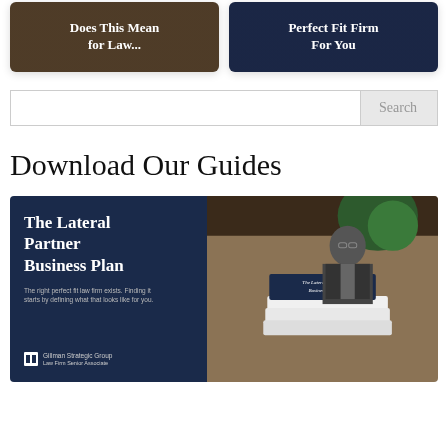[Figure (illustration): Left card with dark brown/tan overlay showing text 'Does This Mean for Law...' in white bold text on dark background]
[Figure (illustration): Right card with dark navy overlay showing text 'Perfect Fit Firm For You' in white bold text on dark background]
Search
Download Our Guides
[Figure (illustration): The Lateral Partner Business Plan guide cover image showing a book/brochure with navy blue left panel featuring bold white title 'The Lateral Partner Business Plan' and small subtitle text, with Gillman Strategic Group logo at bottom left, and right panel showing a photo of a man in suit with glasses, books stacked on wooden table with plant in background]